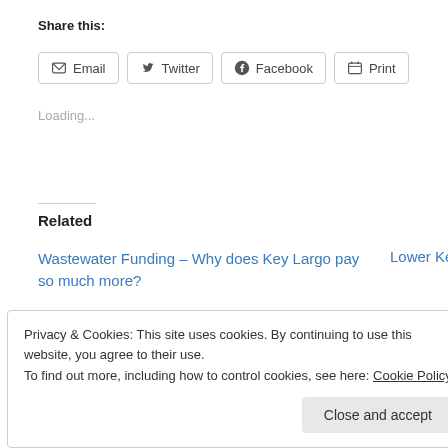Share this:
Email  Twitter  Facebook  Print
Loading...
Related
Wastewater Funding – Why does Key Largo pay so much more?
May 5, 2015
In "Wastewater"
Lower Keys – D
November 26, 2
In "BOCC"
Privacy & Cookies: This site uses cookies. By continuing to use this website, you agree to their use.
To find out more, including how to control cookies, see here: Cookie Policy
Close and accept